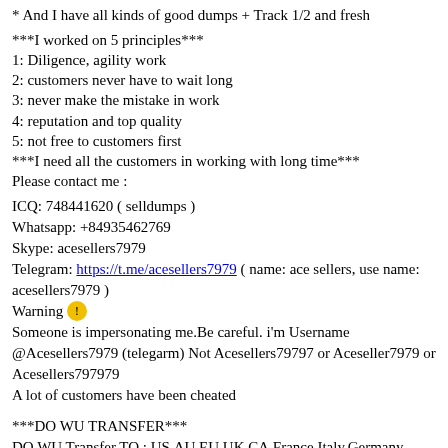* And I have all kinds of good dumps + Track 1/2 and fresh
***I worked on 5 principles***
1: Diligence, agility work
2: customers never have to wait long
3: never make the mistake in work
4: reputation and top quality
5: not free to customers first
***I need all the customers in working with long time***
Please contact me :
ICQ: 748441620 ( selldumps )
Whatsapp: +84935462769
Skype: acesellers7979
Telegram: https://t.me/acesellers7979 ( name: ace sellers, use name: acesellers7979 )
Warning ⚠
Someone is impersonating me.Be careful. i'm Username @Acesellers7979 (telegarm) Not Acesellers79797 or Aceseller7979 or Acesellers797979
A lot of customers have been cheated
***DO WU TRANSFER***
DO WU Transfer TO : US,AU,EU,UK,CA,France,Italy,Germany
Asia and Africa...